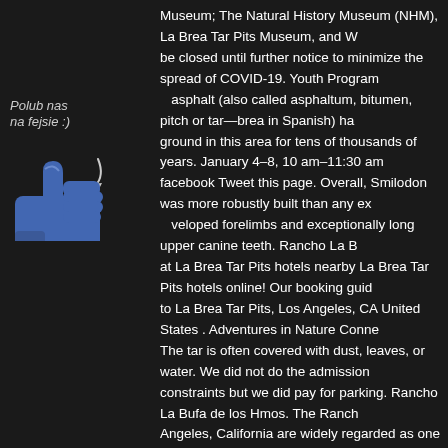Museum; The Natural History Museum (NHM), La Brea Tar Pits Museum, and W... be closed until further notice to minimize the spread of COVID-19. Youth Program... asphalt (also called asphaltum, bitumen, pitch or tar—brea in Spanish) ha... ground in this area for tens of thousands of years. January 4–8, 10 am–11:30 am... facebook Tweet this page. Overall, Smilodon was more robustly built than any ex... veloped forelimbs and exceptionally long upper canine teeth. Rancho La B... at La Brea Tar Pits hotels nearby La Brea Tar Pits hotels online! Our booking guid... to La Brea Tar Pits, Los Angeles, CA United States . Adventures in Nature Conne... The tar is often covered with dust, leaves, or water. We did not do the admission... constraints but we did pay for parking. Rancho La Bufa de los Hmos. The Ranch... Angeles, California are widely regarded as one of the richest sources of mammal... La Brea Tar Pits are world-famous – the different tar pits form one of the most im... paleontological sites and they receive thousands of visitors each year. The bubb... and we enjoyed the photo-ops. Search our directory of hotels close to La Brea Ta... United States and find the lowest rates. See NHMLAC's response to coronavirus... Tar Pits are a group of tar pits around which Hancock Park was formed in urban L... namensgebend für die La Brea Avenue. Thank you to everyone who joined NHM... first ever Haunted Museum at … Natural asphalt (also called asphaltum, bitumen... Spanish) has seeped up from the ground in this area for tens of thousands...
[Figure (illustration): Facebook 'Like/Polub nas' overlay with thumbs up icon and Polish text 'Polub nas na fejsie :)' with a curved arrow]